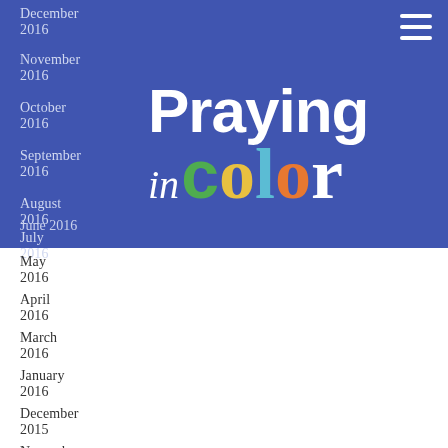[Figure (logo): Praying in color logo with colorful letters on blue background]
December 2016
November 2016
October 2016
September 2016
August 2016
July 2016
June 2016
May 2016
April 2016
March 2016
January 2016
December 2015
November 2015
October 2015
September 2015